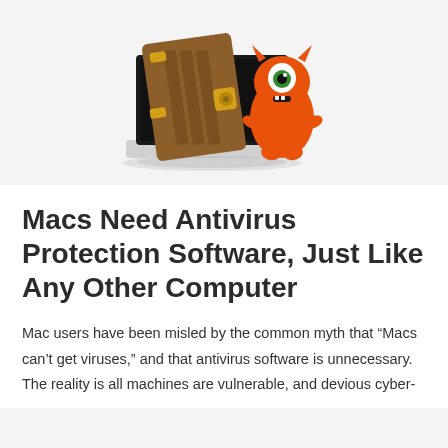[Figure (illustration): Illustration of a laptop computer with a large brown combination safe/vault door open on its screen, and an orange cartoon monster/bug character peeking from behind the laptop.]
Macs Need Antivirus Protection Software, Just Like Any Other Computer
Mac users have been misled by the common myth that “Macs can’t get viruses,” and that antivirus software is unnecessary. The reality is all machines are vulnerable, and devious cyber-